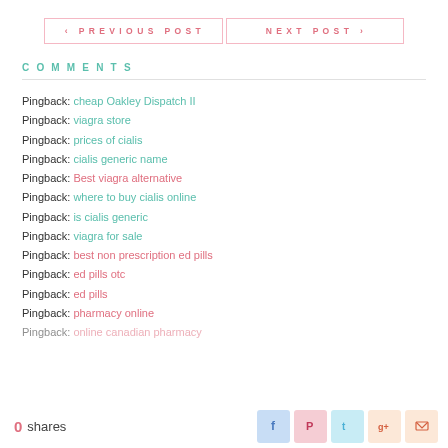< PREVIOUS POST   NEXT POST >
COMMENTS
Pingback: cheap Oakley Dispatch II
Pingback: viagra store
Pingback: prices of cialis
Pingback: cialis generic name
Pingback: Best viagra alternative
Pingback: where to buy cialis online
Pingback: is cialis generic
Pingback: viagra for sale
Pingback: best non prescription ed pills
Pingback: ed pills otc
Pingback: ed pills
Pingback: pharmacy online
Pingback: online canadian pharmacy
0 shares